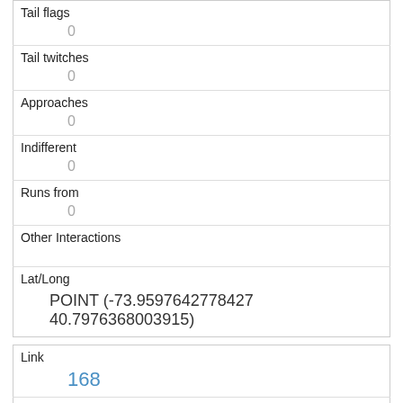| Tail flags | 0 |
| Tail twitches | 0 |
| Approaches | 0 |
| Indifferent | 0 |
| Runs from | 0 |
| Other Interactions |  |
| Lat/Long | POINT (-73.9597642778427 40.7976368003915) |
| Link | 168 |
| rowid | 168 |
| longitude | -73.9745691353018 |